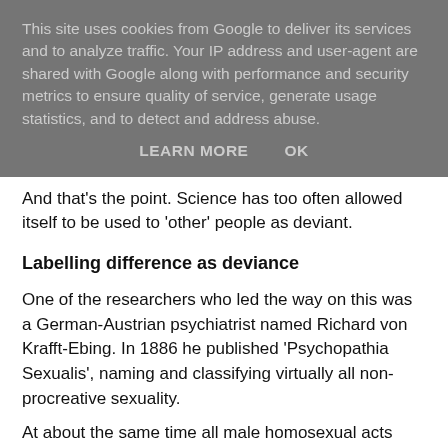This site uses cookies from Google to deliver its services and to analyze traffic. Your IP address and user-agent are shared with Google along with performance and security metrics to ensure quality of service, generate usage statistics, and to detect and address abuse.
LEARN MORE   OK
And that's the point. Science has too often allowed itself to be used to 'other' people as deviant.
Labelling difference as deviance
One of the researchers who led the way on this was a German-Austrian psychiatrist named Richard von Krafft-Ebing. In 1886 he published 'Psychopathia Sexualis', naming and classifying virtually all non-procreative sexuality.
At about the same time all male homosexual acts were made illegal in Britain by Section 11 of the Criminal Law Amendment Act … the so-called Labouchère Amendment.
I'm not suggesting causality here. One event did not